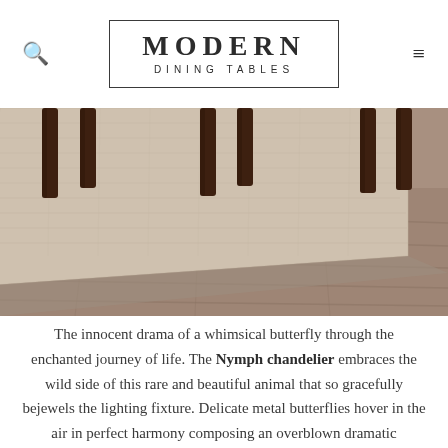MODERN DINING TABLES
[Figure (photo): Photo of a dining room scene showing chair legs and a textured beige/natural fiber area rug on a wood floor]
The innocent drama of a whimsical butterfly through the enchanted journey of life. The Nymph chandelier embraces the wild side of this rare and beautiful animal that so gracefully bejewels the lighting fixture. Delicate metal butterflies hover in the air in perfect harmony composing an overblown dramatic silhouette, which